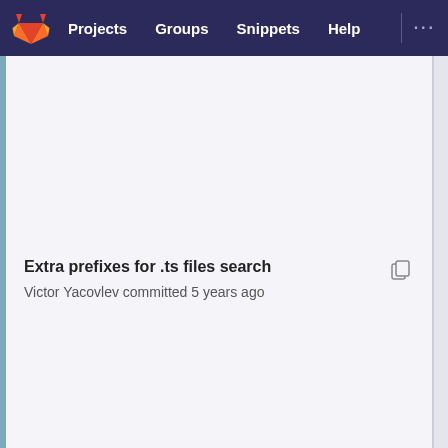Projects   Groups   Snippets   Help
Extra prefixes for .ts files search
Victor Yacovlev committed 5 years ago